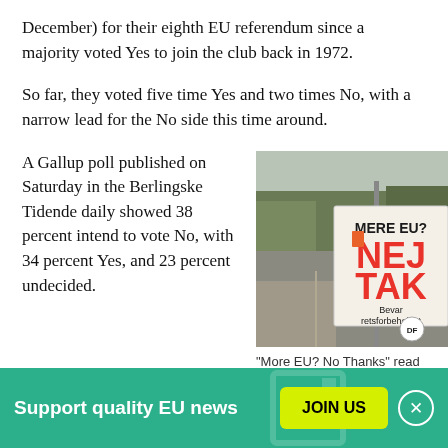December) for their eighth EU referendum since a majority voted Yes to join the club back in 1972.
So far, they voted five time Yes and two times No, with a narrow lead for the No side this time around.
A Gallup poll published on Saturday in the Berlingske Tidende daily showed 38 percent intend to vote No, with 34 percent Yes, and 23 percent undecided.
[Figure (photo): Street photo showing a campaign poster reading 'MERE EU? NEJ TAK Bevar retsforbeholdet' with DF logo, beside a road with trees.]
"More EU? No Thanks" read posters from Danish People's
Support quality EU news  JOIN US